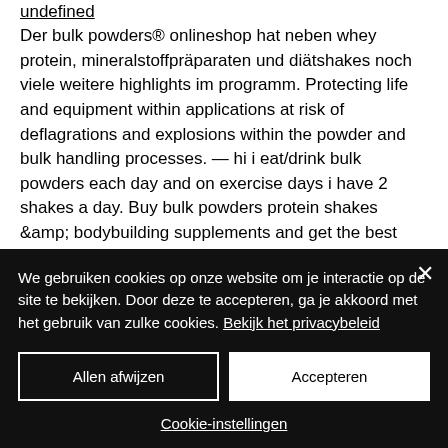undefined
Der bulk powders® onlineshop hat neben whey protein, mineralstoffpräparaten und diätshakes noch viele weitere highlights im programm. Protecting life and equipment within applications at risk of deflagrations and explosions within the powder and bulk handling processes. — hi i eat/drink bulk powders each day and on exercise days i have 2 shakes a day. Buy bulk powders protein shakes &amp; bodybuilding supplements and get the best deals at the lowest prices on ebay! great savings &amp;
We gebruiken cookies op onze website om je interactie op de site te bekijken. Door deze te accepteren, ga je akkoord met het gebruik van zulke cookies. Bekijk het privacybeleid
Allen afwijzen
Accepteren
Cookie-instellingen